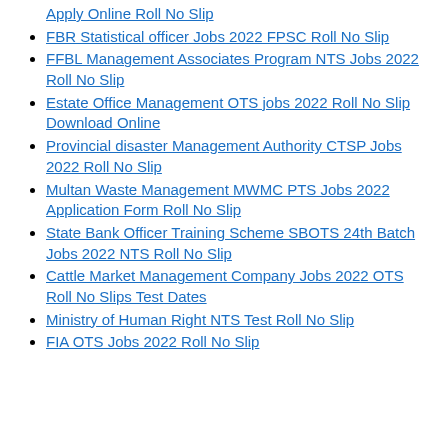Apply Online Roll No Slip
FBR Statistical officer Jobs 2022 FPSC Roll No Slip
FFBL Management Associates Program NTS Jobs 2022 Roll No Slip
Estate Office Management OTS jobs 2022 Roll No Slip Download Online
Provincial disaster Management Authority CTSP Jobs 2022 Roll No Slip
Multan Waste Management MWMC PTS Jobs 2022 Application Form Roll No Slip
State Bank Officer Training Scheme SBOTS 24th Batch Jobs 2022 NTS Roll No Slip
Cattle Market Management Company Jobs 2022 OTS Roll No Slips Test Dates
Ministry of Human Right NTS Test Roll No Slip
FIA OTS Jobs 2022 Roll No Slip